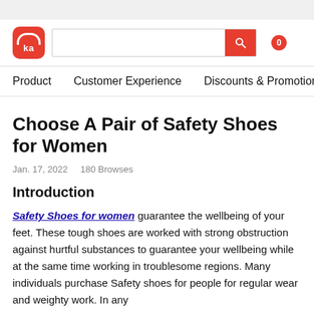[Figure (screenshot): Website header with red logo 'ka', search bar with red search button, and cart icon showing 0]
Product   Customer Experience   Discounts & Promotions   PMore
Choose A Pair of Safety Shoes for Women
Jan. 17, 2022   180 Browses
Introduction
Safety Shoes for women guarantee the wellbeing of your feet. These tough shoes are worked with strong obstruction against hurtful substances to guarantee your wellbeing while at the same time working in troublesome regions. Many individuals purchase Safety shoes for people for regular wear and weighty work. In any